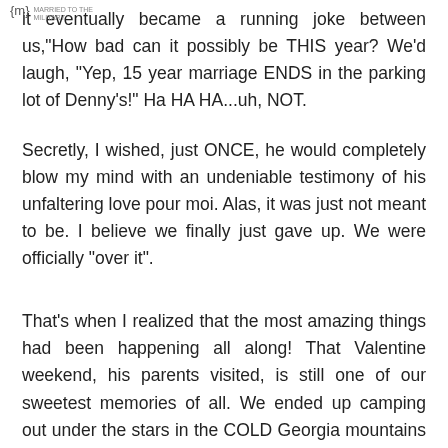{m} [watermark: MILITARY] it eventually became a running joke between us,"How bad can it possibly be THIS year? We'd laugh, "Yep, 15 year marriage ENDS in the parking lot of Denny's!" Ha HA HA...uh, NOT.
Secretly, I wished, just ONCE, he would completely blow my mind with an undeniable testimony of his unfaltering love pour moi. Alas, it was just not meant to be. I believe we finally just gave up. We were officially “over it”.
That's when I realized that the most amazing things had been happening all along! That Valentine weekend, his parents visited, is still one of our sweetest memories of all. We ended up camping out under the stars in the COLD Georgia mountains late that night. And the very first time we ever heard, our son, Jack's, precious little